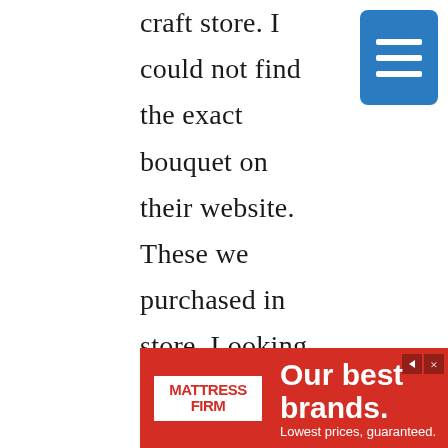craft store. I could not find the exact bouquet on their website. These we purchased in store. Looking on Amazon, I thought this peony bouquet was a nice alternative.
[Figure (other): Blue hamburger menu button with three white horizontal lines]
[Figure (other): Mattress Firm advertisement banner: red background with white text 'Our best brands. Lowest prices, guaranteed.' and Mattress Firm logo]